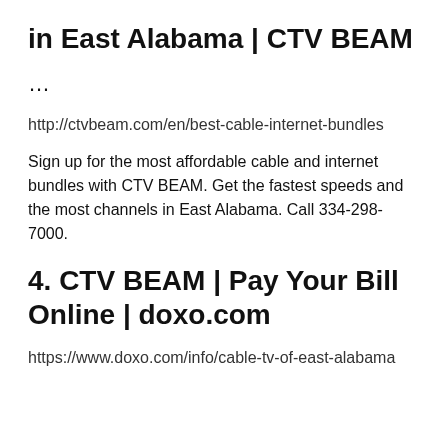in East Alabama | CTV BEAM
…
http://ctvbeam.com/en/best-cable-internet-bundles
Sign up for the most affordable cable and internet bundles with CTV BEAM. Get the fastest speeds and the most channels in East Alabama. Call 334-298-7000.
4. CTV BEAM | Pay Your Bill Online | doxo.com
https://www.doxo.com/info/cable-tv-of-east-alabama